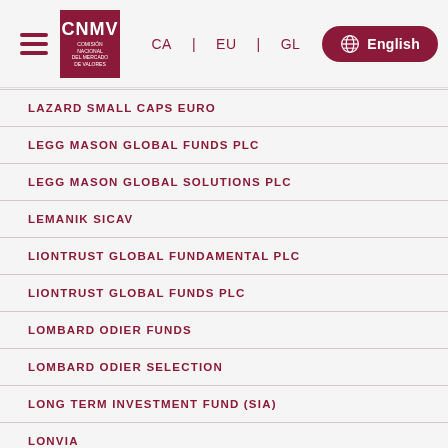CNMV | CA | EU | GL | English
LAZARD SMALL CAPS EURO
LEGG MASON GLOBAL FUNDS PLC
LEGG MASON GLOBAL SOLUTIONS PLC
LEMANIK SICAV
LIONTRUST GLOBAL FUNDAMENTAL PLC
LIONTRUST GLOBAL FUNDS PLC
LOMBARD ODIER FUNDS
LOMBARD ODIER SELECTION
LONG TERM INVESTMENT FUND (SIA)
LONVIA
LORD ABBETT GLOBAL FUNDS I PLC
LUMYNA FUNDS